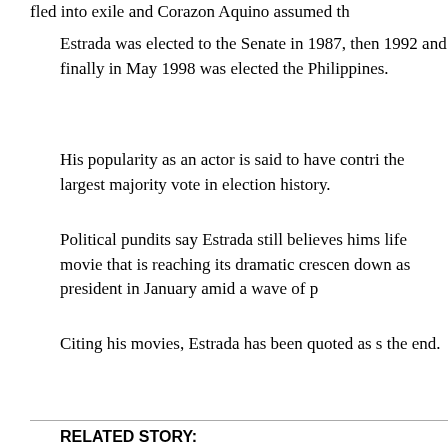fled into exile and Corazon Aquino assumed th
Estrada was elected to the Senate in 1987, then 1992 and finally in May 1998 was elected the Philippines.
His popularity as an actor is said to have contri the largest majority vote in election history.
Political pundits say Estrada still believes hims life movie that is reaching its dramatic crescen down as president in January amid a wave of p
Citing his movies, Estrada has been quoted as s the end.
RELATED STORY:
Estrada won't resist arrest: lawyer
RELATED SITES:
See related sites about Asia
Note: Pages will open in a new browser